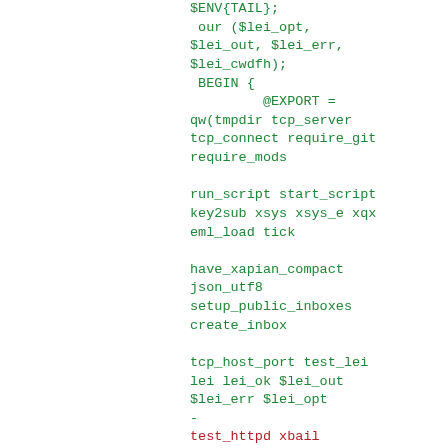Code diff showing changes to export list and function signatures in a Perl source file